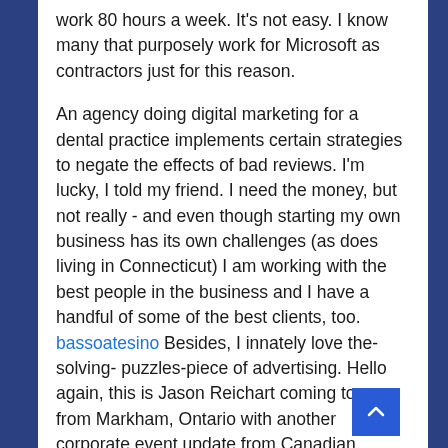work 80 hours a week. It's not easy. I know many that purposely work for Microsoft as contractors just for this reason.

An agency doing digital marketing for a dental practice implements certain strategies to negate the effects of bad reviews. I'm lucky, I told my friend. I need the money, but not really - and even though starting my own business has its own challenges (as does living in Connecticut) I am working with the best people in the business and I have a handful of some of the best clients, too. bassoatesino Besides, I innately love the- solving- puzzles-piece of advertising. Hello again, this is Jason Reichart coming to you from Markham, Ontario with another corporate event update from Canadian